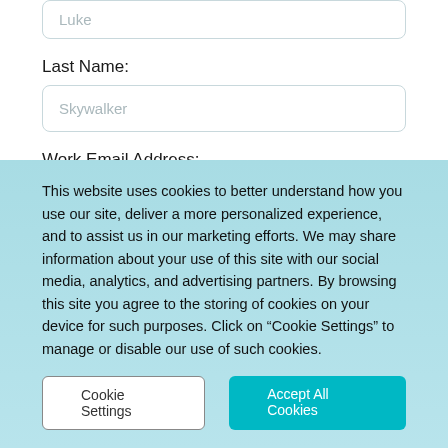Luke
Last Name:
Skywalker
Work Email Address:
demo@traitify.com
Company Name:
Traitify...
This website uses cookies to better understand how you use our site, deliver a more personalized experience, and to assist us in our marketing efforts. We may share information about your use of this site with our social media, analytics, and advertising partners. By browsing this site you agree to the storing of cookies on your device for such purposes. Click on “Cookie Settings” to manage or disable our use of such cookies.